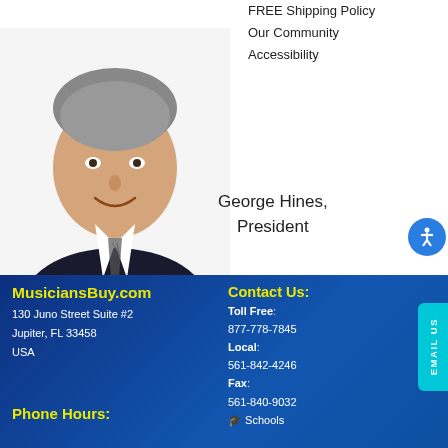FREE Shipping Policy
Our Community
Accessibility
[Figure (photo): Portrait photo of George Hines, President of MusiciansBuy.com — a middle-aged man with grey hair in a dark suit and striped tie, smiling.]
George Hines,
President
MusiciansBuy.com
130 Juno Street Suite #2
Jupiter, FL 33458
USA
Contact Us:
Toll Free:
877-778-7845
Local:
561-842-4246
Fax:
561-840-9032
🎓 Schools
Phone Hours: